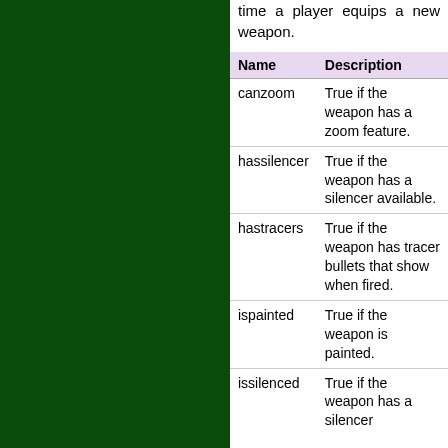time a player equips a new weapon.
| Name | Description |
| --- | --- |
| canzoom | True if the weapon has a zoom feature. |
| hassilencer | True if the weapon has a silencer available. |
| hastracers | True if the weapon has tracer bullets that show when fired. |
| ispainted | True if the weapon is painted. |
| issilenced | True if the weapon has a silencer |